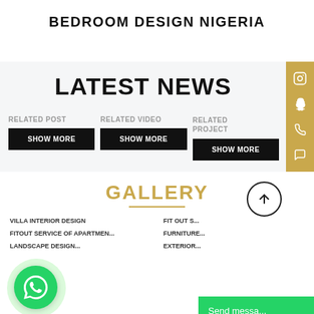BEDROOM DESIGN NIGERIA
LATEST NEWS
RELATED POST
SHOW MORE
RELATED VIDEO
SHOW MORE
RELATED PROJECT
SHOW MORE
GALLERY
VILLA INTERIOR DESIGN
FITOUT SERVICE OF APARTMEN...
LANDSCAPE DESIGN...
FIT OUT S...
FURNITURE...
EXTERIOR...
Send messa...